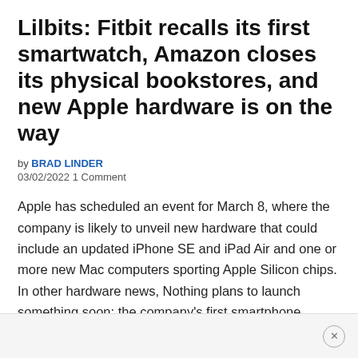Lilbits: Fitbit recalls its first smartwatch, Amazon closes its physical bookstores, and new Apple hardware is on the way
by BRAD LINDER
03/02/2022 1 Comment
Apple has scheduled an event for March 8, where the company is likely to unveil new hardware that could include an updated iPhone SE and iPad Air and one or more new Mac computers sporting Apple Silicon chips. In other hardware news, Nothing plans to launch something soon: the company's first smartphone. Google's Pixel 6a […]